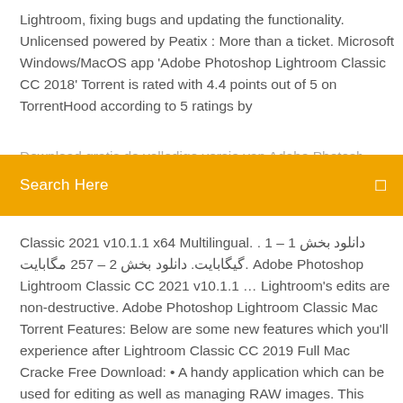Lightroom, fixing bugs and updating the functionality. Unlicensed powered by Peatix : More than a ticket. Microsoft Windows/MacOS app 'Adobe Photoshop Lightroom Classic CC 2018' Torrent is rated with 4.4 points out of 5 on TorrentHood according to 5 ratings by
Download gratis de volledige versie van Adobe Photoshop
[Figure (screenshot): Orange search bar with white text 'Search Here' and a search icon on the right]
Classic 2021 v10.1.1 x64 Multilingual. . دانلود بخش 1 – 1 گیگابایت. دانلود بخش 2 – 257 مگابایت. Adobe Photoshop Lightroom Classic CC 2021 v10.1.1 … Lightroom's edits are non-destructive. Adobe Photoshop Lightroom Classic Mac Torrent Features: Below are some new features which you'll experience after Lightroom Classic CC 2019 Full Mac Cracke Free Download: • A handy application which can be used for editing as well as managing RAW images. This single tool is enough for the activation of all the products like, Photoshop CC 2019,